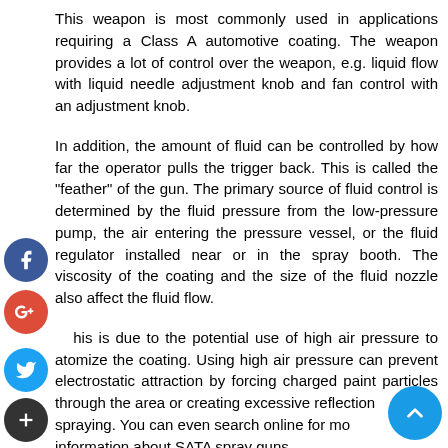This weapon is most commonly used in applications requiring a Class A automotive coating. The weapon provides a lot of control over the weapon, e.g. liquid flow with liquid needle adjustment knob and fan control with an adjustment knob.
In addition, the amount of fluid can be controlled by how far the operator pulls the trigger back. This is called the "feather" of the gun. The primary source of fluid control is determined by the fluid pressure from the low-pressure pump, the air entering the pressure vessel, or the fluid regulator installed near or in the spray booth. The viscosity of the coating and the size of the fluid nozzle also affect the fluid flow.
This is due to the potential use of high air pressure to atomize the coating. Using high air pressure can prevent electrostatic attraction by forcing charged paint particles through the area or creating excessive reflection spraying. You can even search online for more information about SATA spray guns.